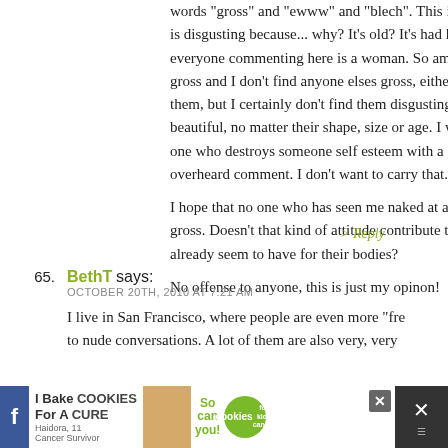words 'gross' and 'ewww' and 'blech'. This implies that the body is disgusting because... why? It's old? It's had kids? It's f… everyone commenting here is a woman. So am I. I don't find myself gross and I don't find anyone elses gross, either. I may not prefer them, but I certainly don't find them disgusting. I think people are beautiful, no matter their shape, size or age. I would not want to be one who destroys someone self esteem with a look of d… or overheard comment. I don't want to carry that. No one…
I hope that no one who has seen me naked at any point thinks I'm gross. Doesn't that kind of attitude contribute to the hatred women already seem to have for their bodies?
No offense to anyone, this is just my opinon!
> Reply
65. BethT says:
OCTOBER 20TH, 2010 AT 7:21 AM
I live in San Francisco, where people are even more "fre… to nude conversations. A lot of them are also very, very…
[Figure (screenshot): Advertisement banner at the bottom: 'I Bake COOKIES For A CURE' with a girl image, cookies for kids cancer logo, and close/social media buttons on dark background.]